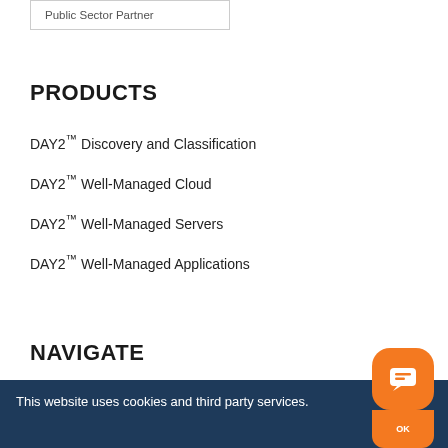Public Sector Partner
PRODUCTS
DAY2™ Discovery and Classification
DAY2™ Well-Managed Cloud
DAY2™ Well-Managed Servers
DAY2™ Well-Managed Applications
NAVIGATE
Our Company
This website uses cookies and third party services.